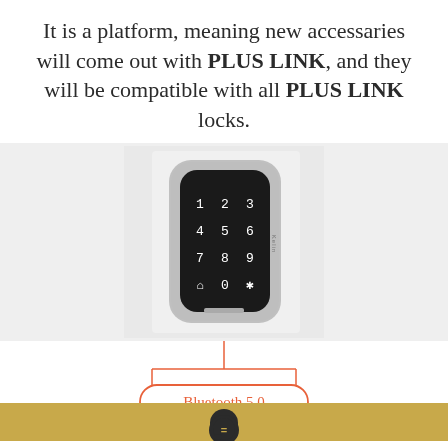It is a platform, meaning new accessaries will come out with PLUS LINK, and they will be compatible with all PLUS LINK locks.
[Figure (photo): Smart lock keypad device (Kelin brand) with numeric touchscreen showing digits 1-9, 0, and symbols on a black display with silver housing]
[Figure (infographic): Diagram showing Bluetooth 5.0 connectivity label in a rounded rectangle with connecting lines, above a golden/yellow bar with a chat icon]